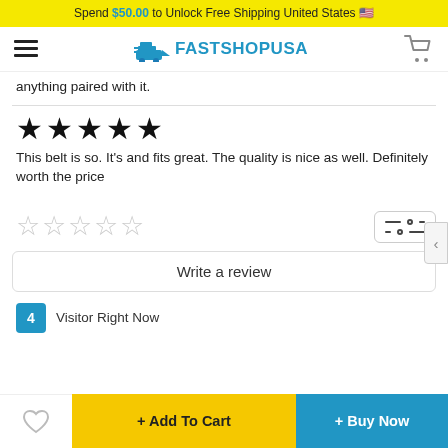Spend $50.00 to Unlock Free Shipping United States 🇺🇸
[Figure (logo): FastShopUSA logo with delivery truck icon, hamburger menu on left, cart icon on right]
anything paired with it.
This belt is so. It's and fits great. The quality is nice as well. Definitely worth the price
[Figure (other): 5 empty star rating input widget]
Write a review
4  Visitor Right Now
+ Add To Cart   + Buy Now